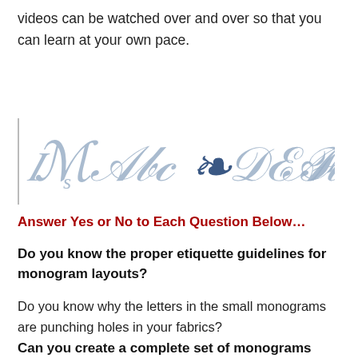videos can be watched over and over so that you can learn at your own pace.
[Figure (illustration): A row of decorative monogram letters in grey and dark blue script/ornamental styles: IMs, ABc, an ornate symbol, DEF, ABc]
Answer Yes or No to Each Question Below…
Do you know the proper etiquette guidelines for monogram layouts?
Do you know why the letters in the small monograms are punching holes in your fabrics?
Can you create a complete set of monograms